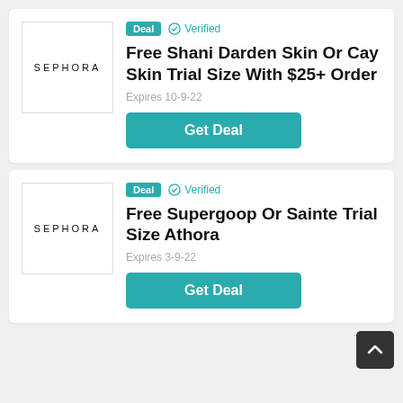[Figure (logo): Sephora logo inside a bordered box, text: SEPHORA]
Deal  Verified
Free Shani Darden Skin Or Cay Skin Trial Size With $25+ Order
Expires 10-9-22
Get Deal
[Figure (logo): Sephora logo inside a bordered box, text: SEPHORA]
Deal  Verified
Free Supergoop Or Sainte Trial Size Athora
Expires 3-9-22
Get Deal